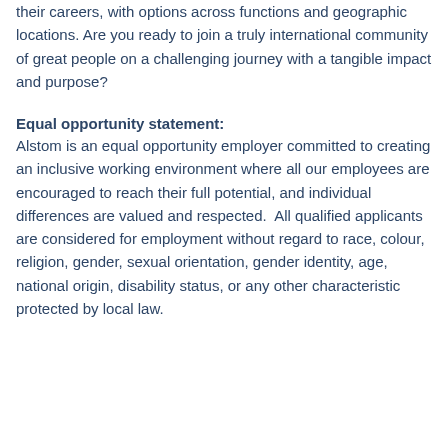their careers, with options across functions and geographic locations. Are you ready to join a truly international community of great people on a challenging journey with a tangible impact and purpose?
Equal opportunity statement:
Alstom is an equal opportunity employer committed to creating an inclusive working environment where all our employees are encouraged to reach their full potential, and individual differences are valued and respected.  All qualified applicants are considered for employment without regard to race, colour, religion, gender, sexual orientation, gender identity, age, national origin, disability status, or any other characteristic protected by local law.